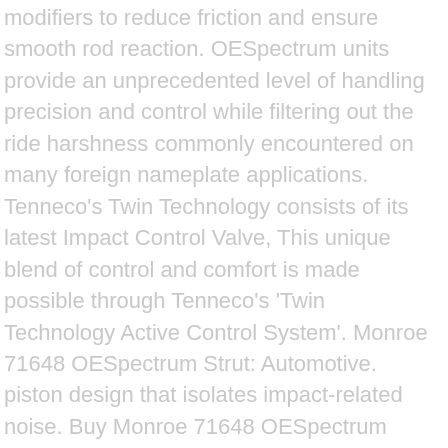modifiers to reduce friction and ensure smooth rod reaction. OESpectrum units provide an unprecedented level of handling precision and control while filtering out the ride harshness commonly encountered on many foreign nameplate applications. Tenneco's Twin Technology consists of its latest Impact Control Valve, This unique blend of control and comfort is made possible through Tenneco's 'Twin Technology Active Control System'. Monroe 71648 OESpectrum Strut: Automotive. piston design that isolates impact-related noise. Buy Monroe 71648 OESpectrum Strut: Struts - ✓ FREE DELIVERY possible on eligible purchases. ICV, this valving automatically adjusts to road extremes to provide consistency and ride comfort. OESpectrum struts are engineered specifically for foreign nameplate vehicles and